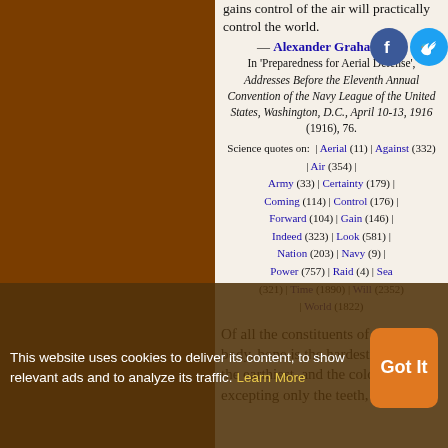gains control of the air will practically control the world.
— Alexander Graham Bell
In 'Preparedness for Aerial Defense', Addresses Before the Eleventh Annual Convention of the Navy League of the United States, Washington, D.C., April 10-13, 1916 (1916), 76.
Science quotes on: | Aerial (11) | Against (332) | Air (354) | Army (33) | Certainty (179) | Coming (114) | Control (176) | Forward (104) | Gain (146) | Indeed (323) | Look (581) | Nation (203) | Navy (9) | Power (757) | Raid (4) | Sea (321) | Time (1890) | Will (2352) | World (1822)
Of all the constituents of the human body, bone is the hardest, the driest, the earthiest, and the coldest and, excepting only the teeth, it is
This website uses cookies to deliver its content, to show relevant ads and to analyze its traffic. Learn More